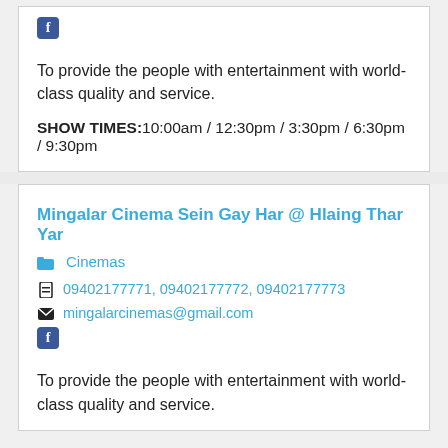[Figure (logo): Facebook icon (blue square with white f)]
To provide the people with entertainment with world-class quality and service.
SHOW TIMES: 10:00am / 12:30pm / 3:30pm / 6:30pm / 9:30pm
Mingalar Cinema Sein Gay Har @ Hlaing Thar Yar
Cinemas
09402177771, 09402177772, 09402177773
mingalarcinemas@gmail.com
[Figure (logo): Facebook icon (blue square with white f)]
To provide the people with entertainment with world-class quality and service.